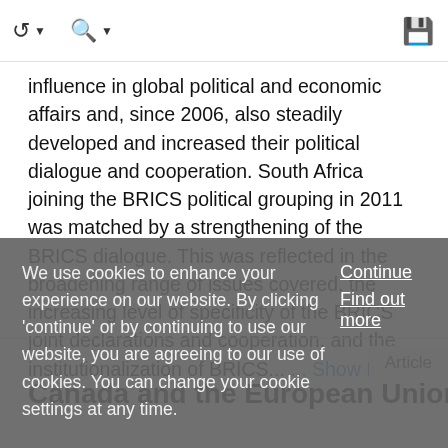[toolbar icons: back navigation, search, save]
influence in global political and economic affairs and, since 2006, also steadily developed and increased their political dialogue and cooperation. South Africa joining the BRICS political grouping in 2011 was matched by a strengthening of the BRICS dialogue. This was reflected in the broadening range of issues covered, the increasing level of specificity of the BRICS joint declarations and cooperation, and the institutionalization of BRICS... ... Show More
Article
Canada and the European Union
We use cookies to enhance your experience on our website. By clicking 'continue' or by continuing to use our website, you are agreeing to our use of cookies. You can change your cookie settings at any time.
Continue
Find out more